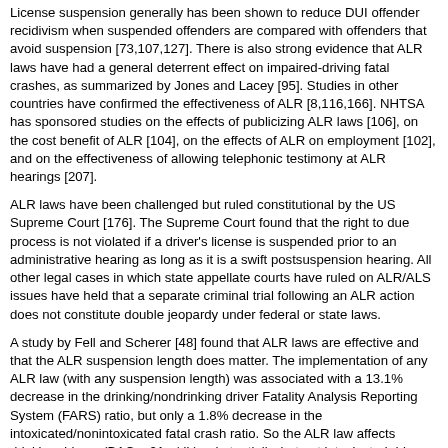License suspension generally has been shown to reduce DUI offender recidivism when suspended offenders are compared with offenders that avoid suspension [73,107,127]. There is also strong evidence that ALR laws have had a general deterrent effect on impaired-driving fatal crashes, as summarized by Jones and Lacey [95]. Studies in other countries have confirmed the effectiveness of ALR [8,116,166]. NHTSA has sponsored studies on the effects of publicizing ALR laws [106], on the cost benefit of ALR [104], on the effects of ALR on employment [102], and on the effectiveness of allowing telephonic testimony at ALR hearings [207].
ALR laws have been challenged but ruled constitutional by the US Supreme Court [176]. The Supreme Court found that the right to due process is not violated if a driver's license is suspended prior to an administrative hearing as long as it is a swift postsuspension hearing. All other legal cases in which state appellate courts have ruled on ALR/ALS issues have held that a separate criminal trial following an ALR action does not constitute double jeopardy under federal or state laws.
A study by Fell and Scherer [48] found that ALR laws are effective and that the ALR suspension length does matter. The implementation of any ALR law (with any suspension length) was associated with a 13.1% decrease in the drinking/nondrinking driver Fatality Analysis Reporting System (FARS) ratio, but only a 1.8% decrease in the intoxicated/nonintoxicated fatal crash ratio. So the ALR law affects drinking drivers (BAC >.01 g/dL) substantially, but not intoxicated drivers (BAC >.08 g/dL). The risk of a fatal crash increases at each increase in the BAC level [193], so it appears that ALR laws send a message to not drink and drive (BAC = .01-.07 g/dL) or you will lose your license, but apparently does not reach drivers who get intoxicated and then drive (BAC [greater than or equal to].08 g/dL). According to the fatal-crash data, more than half of intoxicated drivers (BAC [greater than or equal to].08 g/dL) in fatal crashes have very high